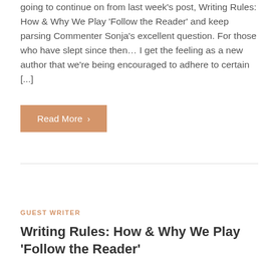going to continue on from last week's post, Writing Rules: How & Why We Play ‘Follow the Reader’ and keep parsing Commenter Sonja’s excellent question. For those who have slept since then… I get the feeling as a new author that we’re being encouraged to adhere to certain […]
Read More >
GUEST WRITER
Writing Rules: How & Why We Play ‘Follow the Reader’